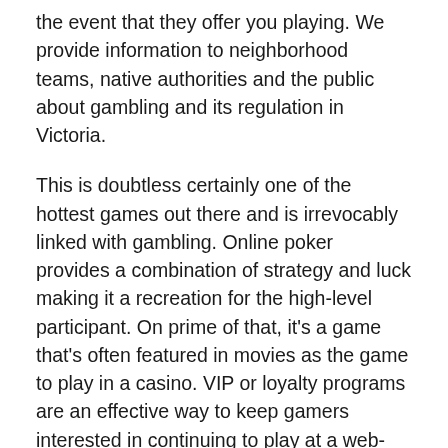the event that they offer you playing. We provide information to neighborhood teams, native authorities and the public about gambling and its regulation in Victoria.
This is doubtless certainly one of the hottest games out there and is irrevocably linked with gambling. Online poker provides a combination of strategy and luck making it a recreation for the high-level participant. On prime of that, it's a game that's often featured in movies as the game to play in a casino. VIP or loyalty programs are an effective way to keep gamers interested in continuing to play at a web-based on line casino. Loyalty packages are easy to implement and offer a spread of bonuses and rewards to those who maintain playing.
Every greatest ranked casino has a loyalty program providing numerous benefits to its players. However, the top-ranked on line casino provides flexible limits for shoppers.
The more...